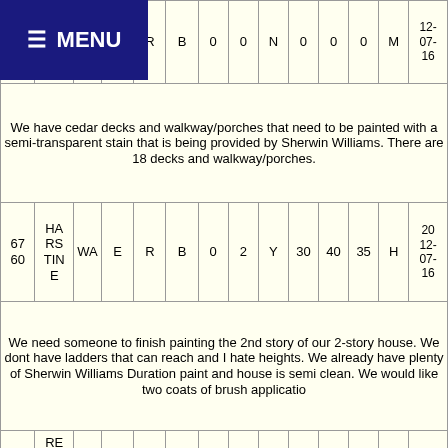☰ MENU
|  |  |  | E | R | B | 0 | 0 | N | 0 | 0 | 0 | M | 12-07-16 |
| --- | --- | --- | --- | --- | --- | --- | --- | --- | --- | --- | --- | --- | --- |
|  | AC H |  |  |  |  |  |  |  |  |  |  |  |  |
We have cedar decks and walkway/porches that need to be painted with a semi-transparent stain that is being provided by Sherwin Williams. There are 18 decks and walkway/porches.
|  |  |  | E | R | B | 0 | 2 | Y | 30 | 40 | 35 | H | 2012-07-16 |
| --- | --- | --- | --- | --- | --- | --- | --- | --- | --- | --- | --- | --- | --- |
| 67 60 | HA RS TIN E | WA | E | R | B | 0 | 2 | Y | 30 | 40 | 35 | H | 2012-07-16 |
We need someone to finish painting the 2nd story of our 2-story house. We dont have ladders that can reach and I hate heights. We already have plenty of Sherwin Williams Duration paint and house is semi clean. We would like two coats of brush applicatio
|  | RE |  |  |  |  |  |  |  |  |  |  |  |